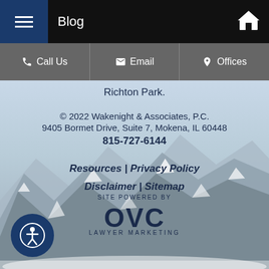Blog
Call Us | Email | Offices
Richton Park.
© 2022 Wakenight & Associates, P.C.
9405 Bormet Drive, Suite 7, Mokena, IL 60448
815-727-6144
Resources | Privacy Policy
Disclaimer | Sitemap
[Figure (logo): OVC Lawyer Marketing logo — 'SITE POWERED BY' text above large 'OVC' letters and 'LAWYER MARKETING' text below]
[Figure (illustration): Accessibility icon button — circular blue button with person/accessibility symbol]